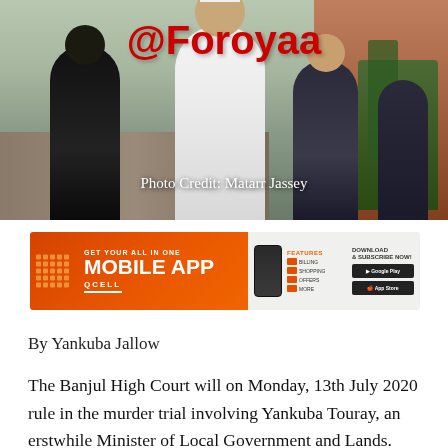[Figure (photo): Photo of people walking, with '@Foroyaa' watermark in red and 'Photo Credit: Matarr Jassey' caption overlay. Shows individuals including one in white robes escorted by others in dark uniforms along a corridor with plants visible to the right.]
[Figure (advertisement): QCell Mobile App advertisement banner — orange background on left with 'GET YOUR ALL IN ONE MOBILE APP / QCELL' text, phone icon in center, features list on right, and download buttons for Google Play and App Store with 'DOWNLOAD & SUBSCRIBE NOW!' text.]
By Yankuba Jallow
The Banjul High Court will on Monday, 13th July 2020 rule in the murder trial involving Yankuba Touray, an erstwhile Minister of Local Government and Lands.